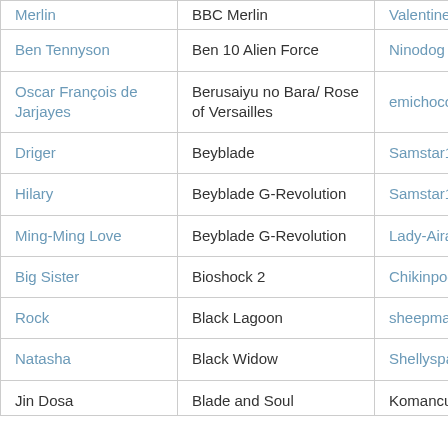| Merlin | BBC Merlin | Valentine_x |
| Ben Tennyson | Ben 10 Alien Force | Ninodog |
| Oscar François de Jarjayes | Berusaiyu no Bara/ Rose of Versailles | emichoco |
| Driger | Beyblade | Samstar1990 |
| Hilary | Beyblade G-Revolution | Samstar1990 |
| Ming-Ming Love | Beyblade G-Revolution | Lady-Aira |
| Big Sister | Bioshock 2 | Chikinpoo |
| Rock | Black Lagoon | sheepman1 |
| Natasha | Black Widow | Shellysparkl87 |
| Jin Dosa | Blade and Soul | Komancunide |